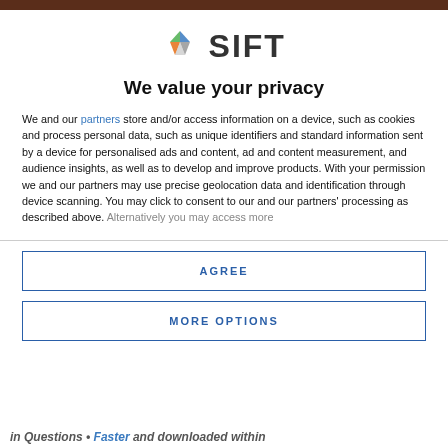[Figure (logo): SIFT logo: geometric diamond shape in teal, green, orange, and grey, with bold text 'SIFT' to the right]
We value your privacy
We and our partners store and/or access information on a device, such as cookies and process personal data, such as unique identifiers and standard information sent by a device for personalised ads and content, ad and content measurement, and audience insights, as well as to develop and improve products. With your permission we and our partners may use precise geolocation data and identification through device scanning. You may click to consent to our and our partners' processing as described above. Alternatively you may access more
AGREE
MORE OPTIONS
in Questions • Faster and downloaded within